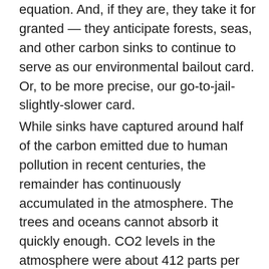equation. And, if they are, they take it for granted — they anticipate forests, seas, and other carbon sinks to continue to serve as our environmental bailout card. Or, to be more precise, our go-to-jail-slightly-slower card.
While sinks have captured around half of the carbon emitted due to human pollution in recent centuries, the remainder has continuously accumulated in the atmosphere. The trees and oceans cannot absorb it quickly enough. CO2 levels in the atmosphere were about 412 parts per million (ppm) at the time of the latest count, and they were growing. It was a 47% increase at the beginning of the industrial period. It was when the concentration was at 280 ppm, and an 11% increase over 2000. With cuts currently slowing...